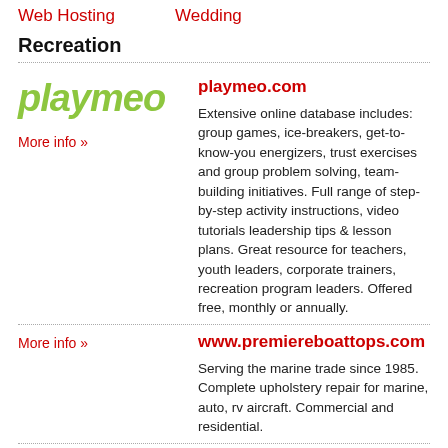Web Hosting   Wedding
Recreation
[Figure (logo): playmeo logo in green italic text]
More info »
playmeo.com
Extensive online database includes: group games, ice-breakers, get-to-know-you energizers, trust exercises and group problem solving, team-building initiatives. Full range of step-by-step activity instructions, video tutorials leadership tips & lesson plans. Great resource for teachers, youth leaders, corporate trainers, recreation program leaders. Offered free, monthly or annually.
More info »
www.premiereboattops.com
Serving the marine trade since 1985. Complete upholstery repair for marine, auto, rv aircraft. Commercial and residential.